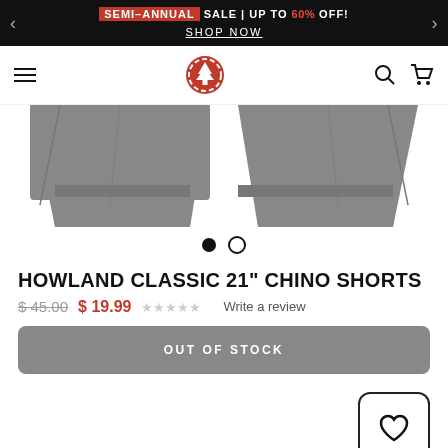SEMI-ANNUAL SALE | UP TO 60% OFF! SHOP NOW
[Figure (screenshot): E-commerce website navigation bar with hamburger menu, Element brand logo (red circle with tree icon), search and cart icons]
[Figure (photo): Product photo of grey Howland Classic 21 inch Chino Shorts, showing two views of the shorts hem area on white background]
HOWLAND CLASSIC 21" CHINO SHORTS
$45.00  $19.99  ★★★★★ Write a review
OUT OF STOCK